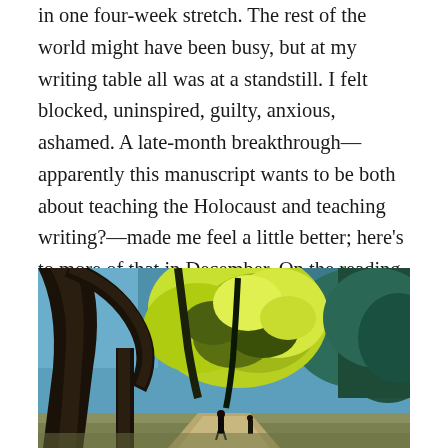in one four-week stretch. The rest of the world might have been busy, but at my writing table all was at a standstill. I felt blocked, uninspired, guilty, anxious, ashamed. A late-month breakthrough—apparently this manuscript wants to be both about teaching the Holocaust and teaching writing?—made me feel a little better; here's to more of that in December. On the reading front, though, things hummed along.
[Figure (illustration): An expressionist-style painting of a park or garden scene with large dark tree trunks on the left, bright yellow-green foliage in the center and right, a blue sky visible in the background, and a small figure walking along a path at the bottom center.]